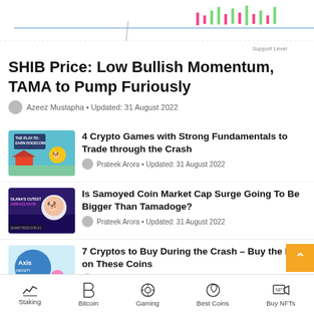[Figure (continuous-plot): Partial cryptocurrency price chart with candlesticks and support level annotation, partially cropped at top of page]
SHIB Price: Low Bullish Momentum, TAMA to Pump Furiously
Azeez Mustapha • Updated: 31 August 2022
[Figure (photo): Play-to-earn Dogecoin themed game thumbnail with cartoon house and trees]
4 Crypto Games with Strong Fundamentals to Trade through the Crash
Prateek Arora • Updated: 31 August 2022
[Figure (photo): Samoyed Coin / Solana's Cutest Ambassador promotional image with white dog and purple background]
Is Samoyed Coin Market Cap Surge Going To Be Bigger Than Tamadoge?
Prateek Arora • Updated: 31 August 2022
[Figure (photo): Axie Infinity logo thumbnail with colorful creatures]
7 Cryptos to Buy During the Crash – Buy the Dip on These Coins
Prateek Arora • Updated: 31 August 2022
Staking  Bitcoin  Gaming  Best Coins  Buy NFTs